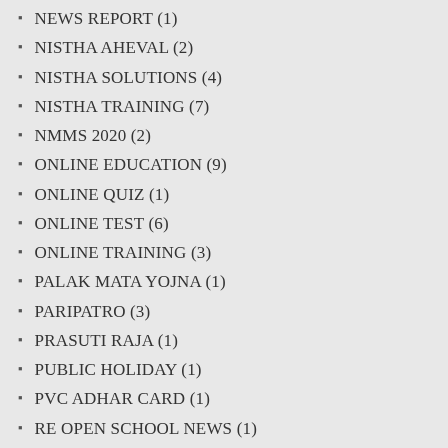NEWS REPORT (1)
NISTHA AHEVAL (2)
NISTHA SOLUTIONS (4)
NISTHA TRAINING (7)
NMMS 2020 (2)
ONLINE EDUCATION (9)
ONLINE QUIZ (1)
ONLINE TEST (6)
ONLINE TRAINING (3)
PALAK MATA YOJNA (1)
PARIPATRO (3)
PRASUTI RAJA (1)
PUBLIC HOLIDAY (1)
PVC ADHAR CARD (1)
RE OPEN SCHOOL NEWS (1)
Re OPENING SCHOOL (1)
SARAL DATA APP (1)